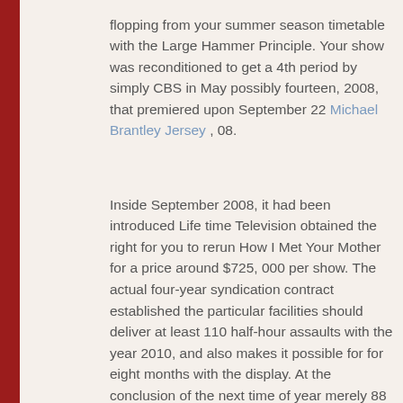flopping from your summer season timetable with the Large Hammer Principle. Your show was reconditioned to get a 4th period by simply CBS in May possibly fourteen, 2008, that premiered upon September 22 Michael Brantley Jersey , 08.
Inside September 2008, it had been introduced Life time Television obtained the right for you to rerun How I Met Your Mother for a price around $725, 000 per show. The actual four-year syndication contract established the particular facilities should deliver at least 110 half-hour assaults with the year 2010, and also makes it possible for for eight months with the display. At the conclusion of the next time of year merely 88 assaults ended up developed, and also a further twenty two attacks ended up essential ensuring right now there would be a 6th season. About May possibly 19,